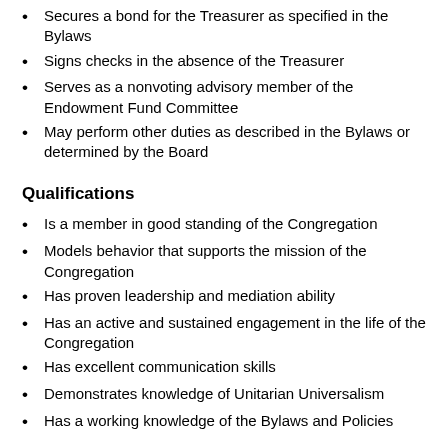Secures a bond for the Treasurer as specified in the Bylaws
Signs checks in the absence of the Treasurer
Serves as a nonvoting advisory member of the Endowment Fund Committee
May perform other duties as described in the Bylaws or determined by the Board
Qualifications
Is a member in good standing of the Congregation
Models behavior that supports the mission of the Congregation
Has proven leadership and mediation ability
Has an active and sustained engagement in the life of the Congregation
Has excellent communication skills
Demonstrates knowledge of Unitarian Universalism
Has a working knowledge of the Bylaws and Policies